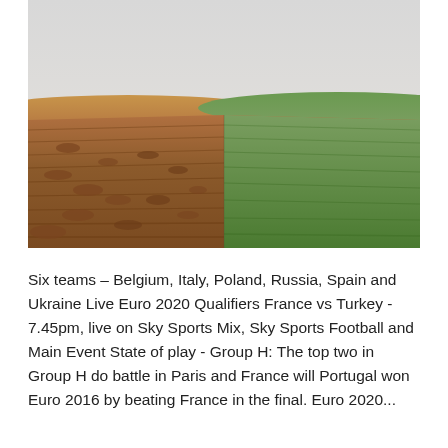[Figure (photo): A landscape photo showing a field split down the middle: the left half is freshly plowed brown soil/dirt, and the right half is lush green grass. The horizon is visible in the background under an overcast pale sky.]
Six teams – Belgium, Italy, Poland, Russia, Spain and Ukraine Live Euro 2020 Qualifiers France vs Turkey - 7.45pm, live on Sky Sports Mix, Sky Sports Football and Main Event State of play - Group H: The top two in Group H do battle in Paris and France will Portugal won Euro 2016 by beating France in the final. Euro 2020...